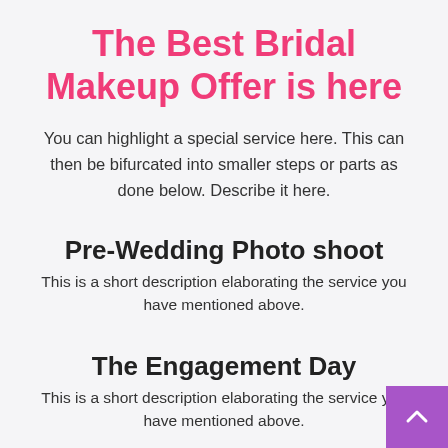The Best Bridal Makeup Offer is here
You can highlight a special service here. This can then be bifurcated into smaller steps or parts as done below. Describe it here.
Pre-Wedding Photo shoot
This is a short description elaborating the service you have mentioned above.
The Engagement Day
This is a short description elaborating the service you have mentioned above.